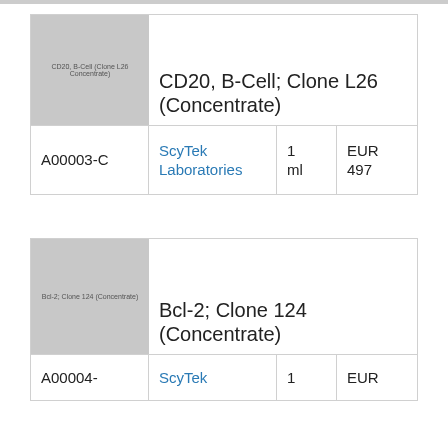| Image | Product Name | Catalog # | Supplier | Qty | Price |
| --- | --- | --- | --- | --- | --- |
| CD20, B-Cell; Clone L26 (Concentrate) | A00003-C | ScyTek Laboratories | 1 ml | EUR 497 |
| Image | Product Name | Catalog # | Supplier | Qty | Price |
| --- | --- | --- | --- | --- | --- |
| Bcl-2; Clone 124 (Concentrate) | A00004- | ScyTek | 1 | EUR |